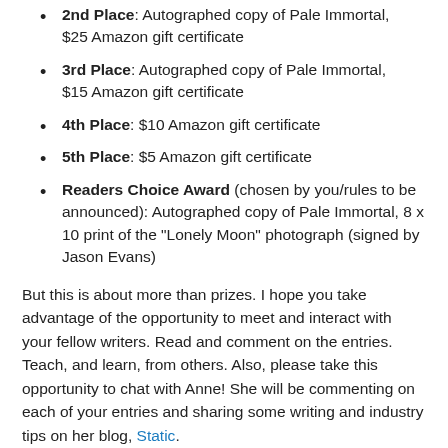2nd Place: Autographed copy of Pale Immortal, $25 Amazon gift certificate
3rd Place: Autographed copy of Pale Immortal, $15 Amazon gift certificate
4th Place: $10 Amazon gift certificate
5th Place: $5 Amazon gift certificate
Readers Choice Award (chosen by you/rules to be announced): Autographed copy of Pale Immortal, 8 x 10 print of the "Lonely Moon" photograph (signed by Jason Evans)
But this is about more than prizes. I hope you take advantage of the opportunity to meet and interact with your fellow writers. Read and comment on the entries. Teach, and learn, from others. Also, please take this opportunity to chat with Anne! She will be commenting on each of your entries and sharing some writing and industry tips on her blog, Static.
As a special treat, after the contest is over and you and I are